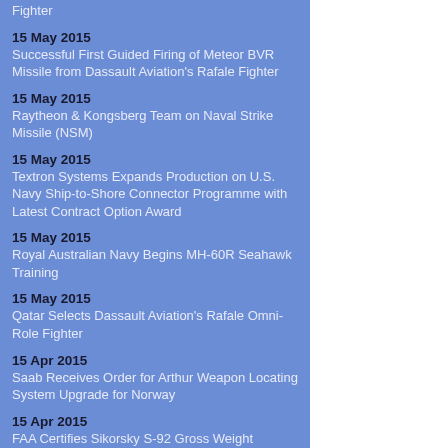Fighter
15 May 2015
Successful First Guided Firing of Meteor BVR Missile from Dassault Aviation's Rafale Fighter
15 May 2015
Raytheon & Kongsberg Team on Naval Strike Missile (NSM)
15 May 2015
Textron Systems Expands Production on U.S. Navy Ship-to-Shore Connector Programme with Latest Contract Option Award
15 May 2015
Royal Australian Navy Begins MH-60R Seahawk Training
15 May 2015
Qatar Selects Dassault Aviation's Rafale Omni-Role Fighter
15 Apr 2015
Saab Receives Order for Arthur Weapon Locating System Upgrade for Norway
15 Apr 2015
FAA Certifies Sikorsky S-92 Gross Weight Expansion and TCAS II